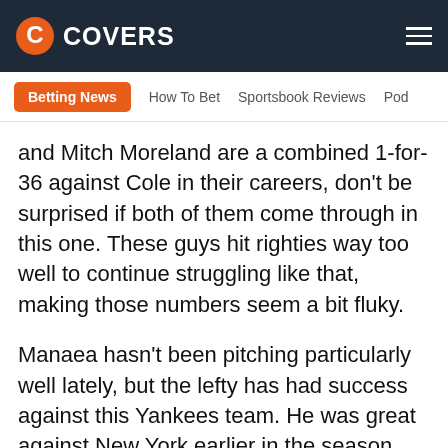COVERS
Betting News | How To Bet | Sportsbook Reviews | Pod
and Mitch Moreland are a combined 1-for-36 against Cole in their careers, don't be surprised if both of them come through in this one. These guys hit righties way too well to continue struggling like that, making those numbers seem a bit fluky.
Manaea hasn't been pitching particularly well lately, but the lefty has had success against this Yankees team. He was great against New York earlier in the season, and the team actually has